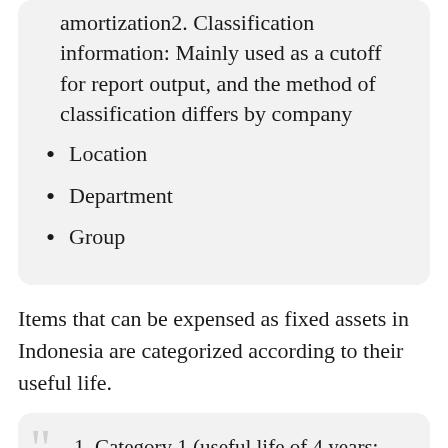amortization2. Classification information: Mainly used as a cutoff for report output, and the method of classification differs by company
Location
Department
Group
Items that can be expensed as fixed assets in Indonesia are categorized according to their useful life.
Category 1 (useful life of 4 years: 50% fixed rate, 25% fixed rate)